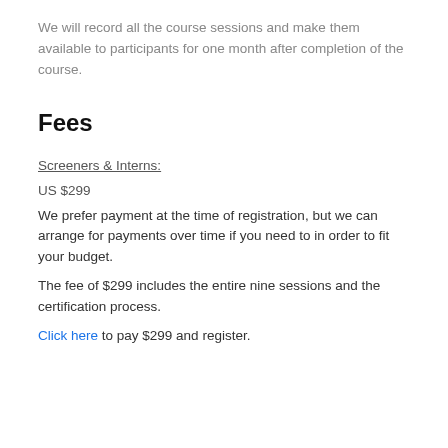We will record all the course sessions and make them available to participants for one month after completion of the course.
Fees
Screeners & Interns:
US $299
We prefer payment at the time of registration, but we can arrange for payments over time if you need to in order to fit your budget.
The fee of $299 includes the entire nine sessions and the certification process.
Click here to pay $299 and register.